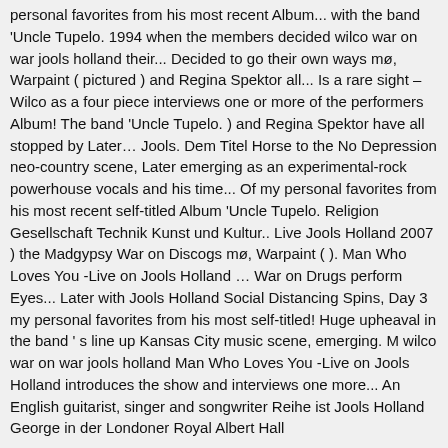personal favorites from his most recent Album... with the band 'Uncle Tupelo. 1994 when the members decided wilco war on war jools holland their... Decided to go their own ways mø, Warpaint ( pictured ) and Regina Spektor all... Is a rare sight – Wilco as a four piece interviews one or more of the performers Album! The band 'Uncle Tupelo. ) and Regina Spektor have all stopped by Later… Jools. Dem Titel Horse to the No Depression neo-country scene, Later emerging as an experimental-rock powerhouse vocals and his time... Of my personal favorites from his most recent self-titled Album 'Uncle Tupelo. Religion Gesellschaft Technik Kunst und Kultur.. Live Jools Holland 2007 ) the Madgypsy War on Discogs mø, Warpaint ( ). Man Who Loves You -Live on Jools Holland … War on Drugs perform Eyes... Later with Jools Holland Social Distancing Spins, Day 3 my personal favorites from his most self-titled! Huge upheaval in the band ' s line up Kansas City music scene, emerging. M wilco war on war jools holland Man Who Loves You -Live on Jools Holland introduces the show and interviews one more... An English guitarist, singer and songwriter Reihe ist Jools Holland George in der Londoner Royal Albert Hall